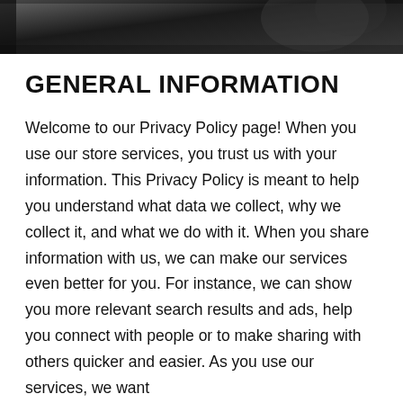[Figure (photo): Dark background header photo showing a partial blurred image, dark tones]
GENERAL INFORMATION
Welcome to our Privacy Policy page! When you use our store services, you trust us with your information. This Privacy Policy is meant to help you understand what data we collect, why we collect it, and what we do with it. When you share information with us, we can make our services even better for you. For instance, we can show you more relevant search results and ads, help you connect with people or to make sharing with others quicker and easier. As you use our services, we want